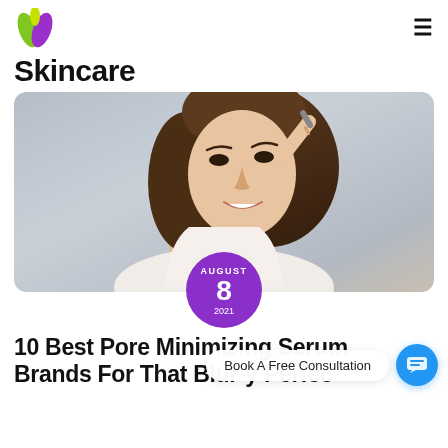Skincare
[Figure (photo): Young woman smiling and applying serum to her face with a dropper, photographed against a light gray background]
AUGUST 8 2021
Book A Free Consultation
10 Best Pore Minimizing Serum Brands For That Blur-y Perfec